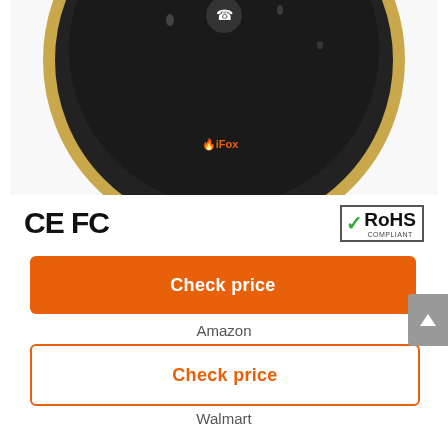[Figure (photo): Top-down view of a circular black iFox waterproof Bluetooth speaker with gold ring, showing control buttons on top surface with water droplets visible]
[Figure (logo): CE and FCC certification marks on the left, RoHS Compliant badge on the right]
Check price
Amazon
Check price
Walmart
Features
IPX waterproof rate: 7